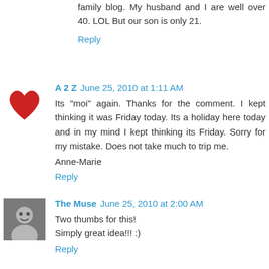family blog. My husband and I are well over 40. LOL But our son is only 21.
Reply
A 2 Z  June 25, 2010 at 1:11 AM
Its "moi" again. Thanks for the comment. I kept thinking it was Friday today. Its a holiday here today and in my mind I kept thinking its Friday. Sorry for my mistake. Does not take much to trip me.

Anne-Marie
Reply
The Muse  June 25, 2010 at 2:00 AM
Two thumbs for this!
Simply great idea!!! :)
Reply